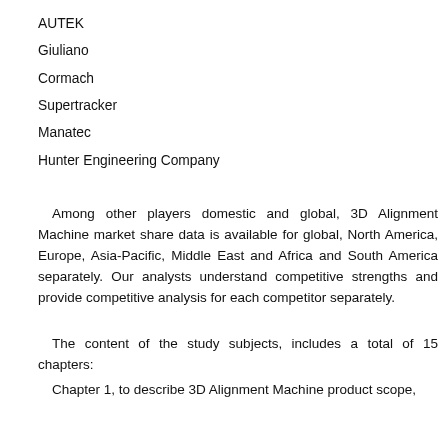AUTEK
Giuliano
Cormach
Supertracker
Manatec
Hunter Engineering Company
Among other players domestic and global, 3D Alignment Machine market share data is available for global, North America, Europe, Asia-Pacific, Middle East and Africa and South America separately. Our analysts understand competitive strengths and provide competitive analysis for each competitor separately.
The content of the study subjects, includes a total of 15 chapters:
Chapter 1, to describe 3D Alignment Machine product scope,